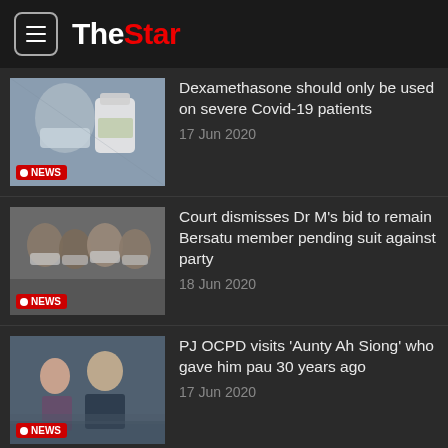The Star
Dexamethasone should only be used on severe Covid-19 patients
17 Jun 2020
Court dismisses Dr M's bid to remain Bersatu member pending suit against party
18 Jun 2020
PJ OCPD visits 'Aunty Ah Siong' who gave him pau 30 years ago
17 Jun 2020
High Court orders Isa Samad to enter defence in Felda graft case
16 Jun 2020
Old folks home in Kuala Selangor is latest